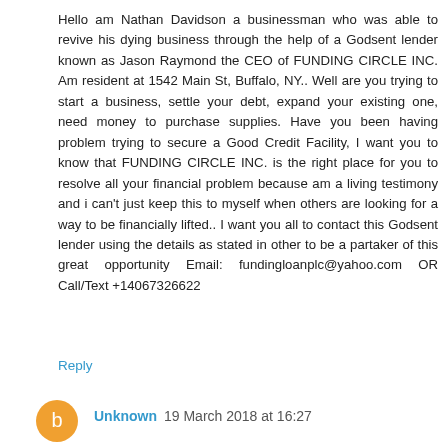Hello am Nathan Davidson a businessman who was able to revive his dying business through the help of a Godsent lender known as Jason Raymond the CEO of FUNDING CIRCLE INC. Am resident at 1542 Main St, Buffalo, NY.. Well are you trying to start a business, settle your debt, expand your existing one, need money to purchase supplies. Have you been having problem trying to secure a Good Credit Facility, I want you to know that FUNDING CIRCLE INC. is the right place for you to resolve all your financial problem because am a living testimony and i can't just keep this to myself when others are looking for a way to be financially lifted.. I want you all to contact this Godsent lender using the details as stated in other to be a partaker of this great opportunity Email: fundingloanplc@yahoo.com OR Call/Text +14067326622
Reply
Unknown 19 March 2018 at 16:27